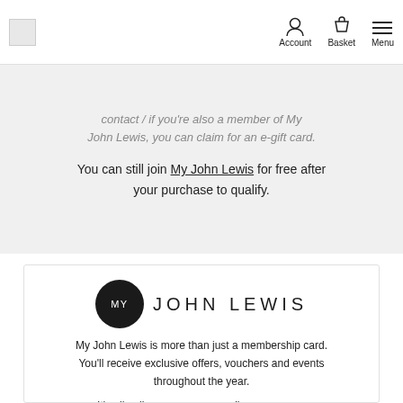Account  Basket  Menu
…contact / if you're also a member of My John Lewis, you can claim for an e-gift card.
You can still join My John Lewis for free after your purchase to qualify.
[Figure (logo): My John Lewis logo: black circle with 'MY' text beside 'JOHN LEWIS' wordmark in large spaced capitals]
My John Lewis is more than just a membership card. You'll receive exclusive offers, vouchers and events throughout the year.
It's all online, so you can easily access your membership card and rewards from the John Lewis & Partners app and website.